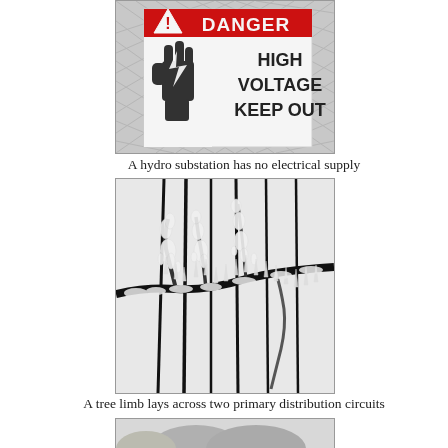[Figure (photo): A warning sign on a chain-link fence reading DANGER HIGH VOLTAGE KEEP OUT with a hand/lightning bolt symbol, partially cropped at top.]
A hydro substation has no electrical supply
[Figure (photo): Black and white photo of an ice-covered tree limb laying across several power distribution lines/wires, with heavy ice accumulation on the branches.]
A tree limb lays across two primary distribution circuits
[Figure (photo): Partial black and white photo of a snow-covered tree in a wintry landscape, cropped at bottom of page.]